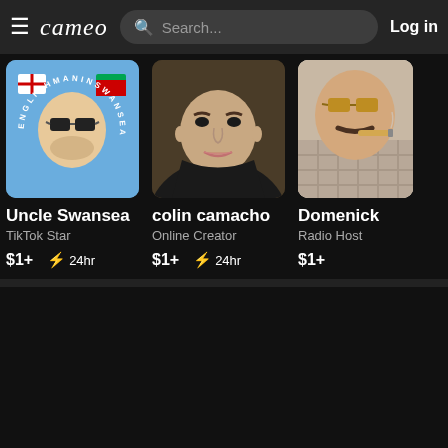cameo  Search...  Log in
[Figure (screenshot): Uncle Swansea profile illustration - cartoon face with England and Wales flags, circular text 'ENGLISHMANINSWANSEA' on blue background]
Uncle Swansea
TikTok Star
$1+  ⚡ 24hr
[Figure (photo): Close-up photo of colin camacho - young man with dark hoodie]
colin camacho
Online Creator
$1+  ⚡ 24hr
[Figure (photo): Photo of Domenick - man with mustache smoking cigar, wearing checkered shirt]
Domenick
Radio Host
$1+